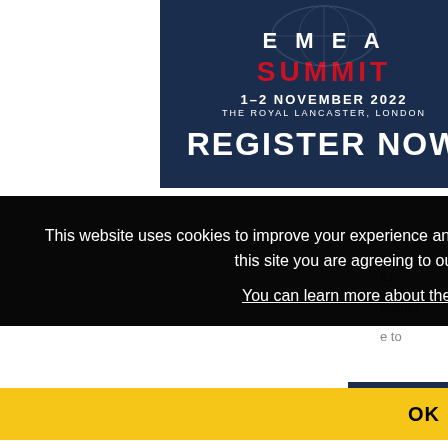[Figure (infographic): EMEA Summit banner with dark navy background, globe graphic, red SUMMIT text, date 1-2 November 2022, venue The Royal Lancaster London, and REGISTER NOW call to action in white bold text]
This website uses cookies to improve your experience and for ads personalisation. By continuing to browse this site you are agreeing to our use of these cookies. You can learn more about the cookies we use here.
OK